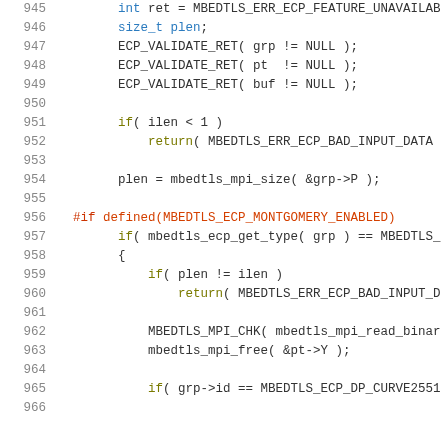[Figure (screenshot): Source code listing in C showing lines 945-965 of what appears to be an mbedTLS cryptographic library implementation, with syntax highlighting. The code shows variable declarations, ECP_VALIDATE_RET macro calls, an if statement checking ilen < 1, plen assignment from mbedtls_mpi_size, a preprocessor #if directive for MBEDTLS_ECP_MONTGOMERY_ENABLED, and nested if/return/macro call statements.]